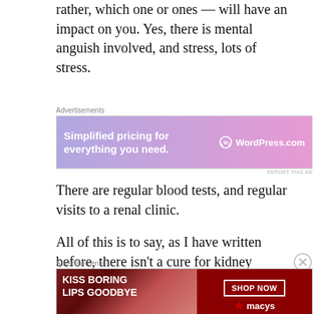rather, which one or ones — will have an impact on you. Yes, there is mental anguish involved, and stress, lots of stress.
[Figure (screenshot): WordPress.com advertisement banner: 'Simplified pricing for everything you need.' with WordPress.com logo on purple-pink gradient background]
There are regular blood tests, and regular visits to a renal clinic.
All of this is to say, as I have written before, there isn't a cure for kidney disease. Once you've got it, once it has taken root, that's it.
[Figure (screenshot): Macy's advertisement banner: 'KISS BORING LIPS GOODBYE' with SHOP NOW button and Macy's star logo on dark red background]